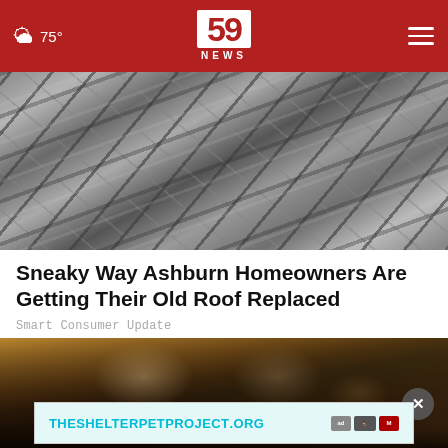59 NEWS — 75°
[Figure (photo): Aerial/close-up view of old broken slate roof shingles in gray tones]
Sneaky Way Ashburn Homeowners Are Getting Their Old Roof Replaced
Smart Consumer Update
[Figure (photo): A smiling blonde woman in a green dress and a man in a tuxedo with bow tie at a formal event, possibly a gala or wedding reception]
[Figure (other): Advertisement banner: THESHELTERPETPROJECT.ORG with AdChoices and partner logos]